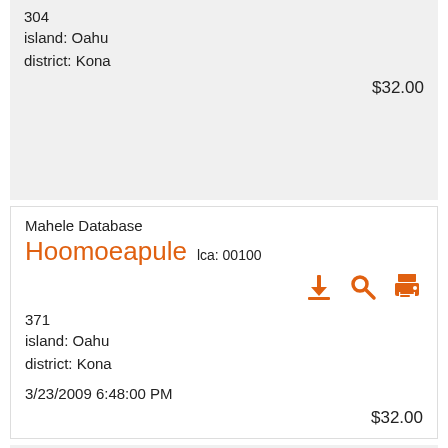304
island: Oahu
district: Kona
$32.00
Mahele Database
Hoomoeapule  lca: 00100
[Figure (infographic): Three orange icons: download, search (magnifying glass), and print]
371
island: Oahu
district: Kona
3/23/2009 6:48:00 PM
$32.00
Mahele Database